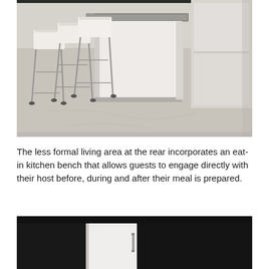[Figure (photo): Kitchen island with white cabinets and stainless steel countertop, three chrome bar stools with white seats, concrete floor, modern minimalist kitchen.]
The less formal living area at the rear incorporates an eat-in kitchen bench that allows guests to engage directly with their host before, during and after their meal is prepared.
[Figure (photo): Partial view of modern kitchen with dark countertop and white cabinetry with chrome handle, dark background.]